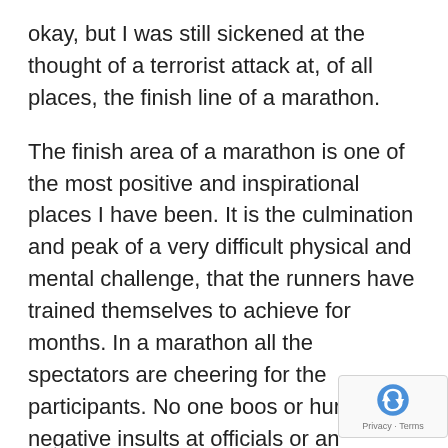okay, but I was still sickened at the thought of a terrorist attack at, of all places, the finish line of a marathon.
The finish area of a marathon is one of the most positive and inspirational places I have been. It is the culmination and peak of a very difficult physical and mental challenge, that the runners have trained themselves to achieve for months. In a marathon all the spectators are cheering for the participants. No one boos or hurls negative insults at officials or an opposing team. In a marathon every runner, from the elite to the 60 year old grandma, has the same challenge, runs the same distance, trains in much the same way. It is a very unique sporting environment. Like no other.